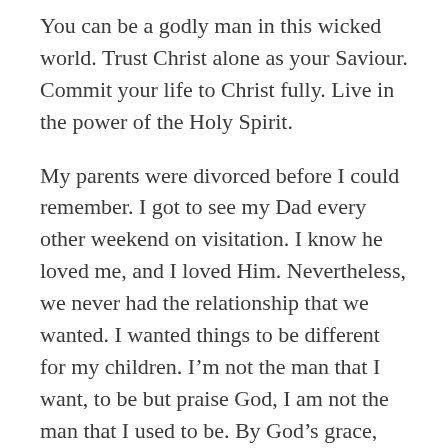You can be a godly man in this wicked world. Trust Christ alone as your Saviour. Commit your life to Christ fully. Live in the power of the Holy Spirit.
My parents were divorced before I could remember. I got to see my Dad every other weekend on visitation. I know he loved me, and I loved Him. Nevertheless, we never had the relationship that we wanted. I wanted things to be different for my children. I’m not the man that I want, to be but praise God, I am not the man that I used to be. By God’s grace, my children have a different experience with their dad than I had with mine.
Regardless of your relationship with your dad, you should strive to parent supernaturally with